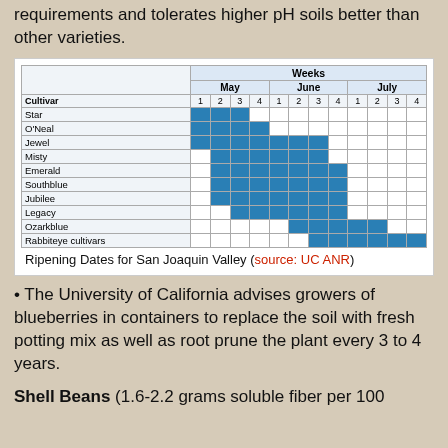requirements and tolerates higher pH soils better than other varieties.
[Figure (other): Gantt-style table showing ripening dates for blueberry cultivars in San Joaquin Valley across May, June, and July by week]
Ripening Dates for San Joaquin Valley (source: UC ANR)
The University of California advises growers of blueberries in containers to replace the soil with fresh potting mix as well as root prune the plant every 3 to 4 years.
Shell Beans (1.6-2.2 grams soluble fiber per 100